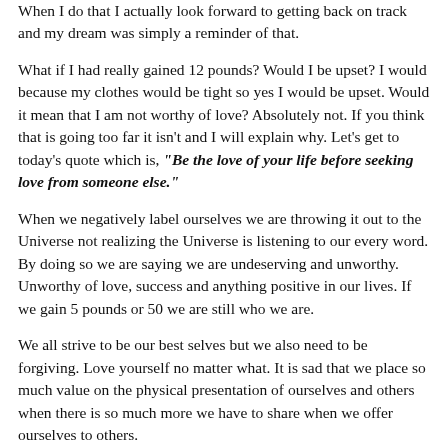When I do that I actually look forward to getting back on track and my dream was simply a reminder of that.
What if I had really gained 12 pounds?  Would I be upset?  I would because my clothes would be tight so yes I would be upset.  Would it mean that I am not worthy of love?  Absolutely not.  If you think that is going too far it isn't and I will explain why.  Let's get to today's quote which is, "Be the love of your life before seeking love from someone else."
When we negatively label ourselves we are throwing it out to the Universe not realizing the Universe is listening to our every word.  By doing so we are saying we are undeserving and unworthy.  Unworthy of love, success and anything positive in our lives.  If we gain 5 pounds or 50 we are still who we are.
We all strive to be our best selves but we also need to be forgiving.  Love yourself no matter what.  It is sad that we place so much value on the physical presentation of ourselves and others when there is so much more we have to share when we offer ourselves to others.